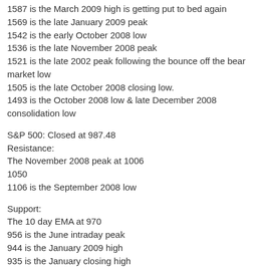1587 is the March 2009 high is getting put to bed again
1569 is the late January 2009 peak
1542 is the early October 2008 low
1536 is the late November 2008 peak
1521 is the late 2002 peak following the bounce off the bear market low
1505 is the late October 2008 closing low.
1493 is the October 2008 low & late December 2008 consolidation low
S&P 500: Closed at 987.48
Resistance:
The November 2008 peak at 1006
1050
1106 is the September 2008 low
Support:
The 10 day EMA at 970
956 is the June intraday peak
944 is the January 2009 high
935 is the January closing high